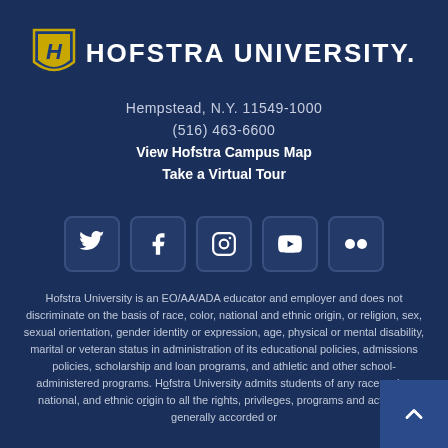[Figure (logo): Hofstra University logo with shield and wordmark]
Hempstead, N.Y. 11549-1000
(516) 463-6600
View Hofstra Campus Map
Take a Virtual Tour
[Figure (illustration): Social media icons: Twitter, Facebook, Instagram, YouTube, Flickr]
Hofstra University is an EO/AA/ADA educator and employer and does not discriminate on the basis of race, color, national and ethnic origin, or religion, sex, sexual orientation, gender identity or expression, age, physical or mental disability, marital or veteran status in administration of its educational policies, admissions policies, scholarship and loan programs, and athletic and other school-administered programs. H... University admits students of any race, color, national, and ethnic ... to all the rights, privileges, programs and activities generally accorded or